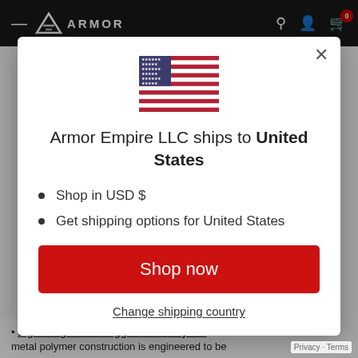ARMOR
[Figure (illustration): United States flag emoji/icon displayed centered in the modal dialog]
Armor Empire LLC ships to United States
Shop in USD $
Get shipping options for United States
Shop now
Change shipping country
Lightweight and Rugged T5 – Polymer Advanced metal polymer construction is engineered to be